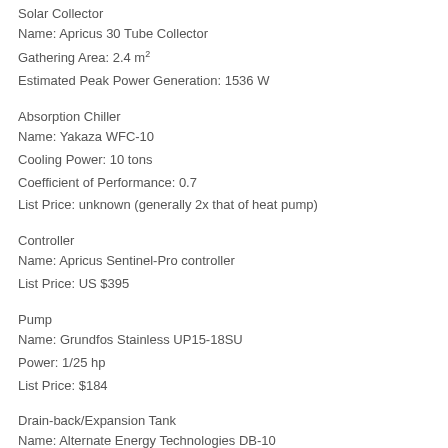Solar Collector
Name: Apricus 30 Tube Collector
Gathering Area: 2.4 m²
Estimated Peak Power Generation: 1536 W
Absorption Chiller
Name: Yakaza WFC-10
Cooling Power: 10 tons
Coefficient of Performance: 0.7
List Price: unknown (generally 2x that of heat pump)
Controller
Name: Apricus Sentinel-Pro controller
List Price: US $395
Pump
Name: Grundfos Stainless UP15-18SU
Power: 1/25 hp
List Price: $184
Drain-back/Expansion Tank
Name: Alternate Energy Technologies DB-10
Capacity: 10 gallons